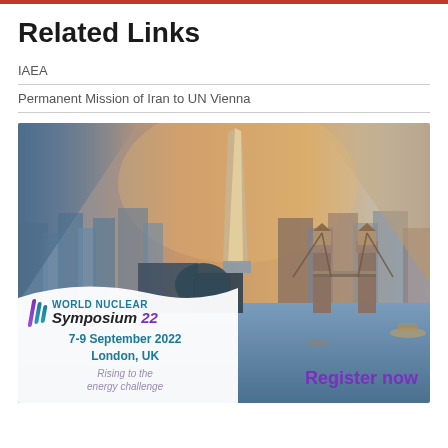Related Links
IAEA
Permanent Mission of Iran to UN Vienna
[Figure (infographic): World Nuclear Symposium 22 advertisement banner featuring London skyline with Tower Bridge and The Shard. Text reads: WORLD NUCLEAR Symposium 22, 7-9 September 2022, London, UK, Rising to the energy challenge, Register now.]